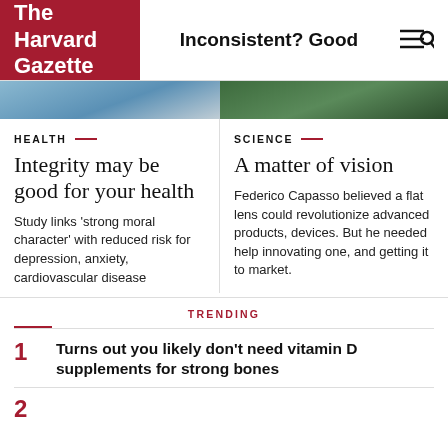The Harvard Gazette — Inconsistent? Good
[Figure (photo): Two cropped photos side by side: left shows blue sky/outdoor scene, right shows green foliage/person outdoors]
HEALTH
Integrity may be good for your health
Study links 'strong moral character' with reduced risk for depression, anxiety, cardiovascular disease
SCIENCE
A matter of vision
Federico Capasso believed a flat lens could revolutionize advanced products, devices. But he needed help innovating one, and getting it to market.
TRENDING
1 — Turns out you likely don't need vitamin D supplements for strong bones
2 — (partially visible)